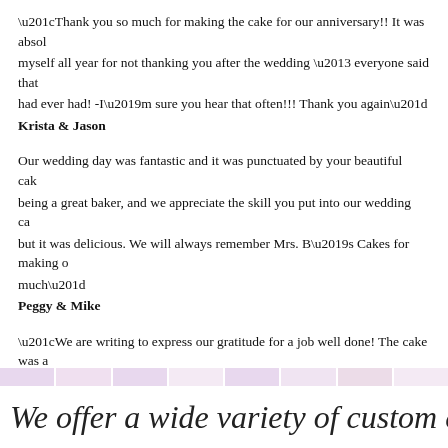“Thank you so much for making the cake for our anniversary!! It was absolutely delicious. I kicked myself all year for not thanking you after the wedding – everyone said that it was the best cake they had ever had! -I’m sure you hear that often!!! Thank you again” Krista & Jason
Our wedding day was fantastic and it was punctuated by your beautiful cake. You have a gift for being a great baker, and we appreciate the skill you put into our wedding cake. Not only was it beautiful but it was delicious. We will always remember Mrs. B’s Cakes for making our wedding day special. Thank you much” Peggy & Mike
“We are writing to express our gratitude for a job well done! The cake was absolutely the best of all. We couldn’t have asked for a more beautiful presentation. Thank you for helping to make our wedding day!” Erika & Cornell
[Figure (illustration): Decorative horizontal divider bar with alternating light pink/lavender segments separated by white lines]
We offer a wide variety of custom cakes